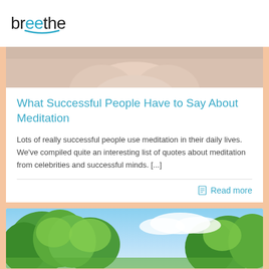breethe
[Figure (photo): Cropped photo of hands in a meditative pose against a light background]
What Successful People Have to Say About Meditation
Lots of really successful people use meditation in their daily lives. We've compiled quite an interesting list of quotes about meditation from celebrities and successful minds. [...]
Read more
[Figure (photo): Outdoor photo with green trees and blue sky, partially visible at bottom of page]